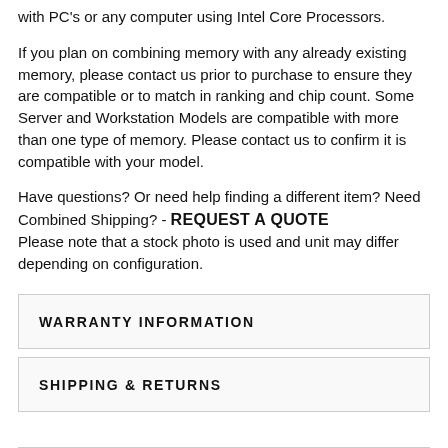with PC's or any computer using Intel Core Processors.
If you plan on combining memory with any already existing memory, please contact us prior to purchase to ensure they are compatible or to match in ranking and chip count. Some Server and Workstation Models are compatible with more than one type of memory. Please contact us to confirm it is compatible with your model.
Have questions? Or need help finding a different item? Need Combined Shipping? - REQUEST A QUOTE Please note that a stock photo is used and unit may differ depending on configuration.
WARRANTY INFORMATION
SHIPPING & RETURNS